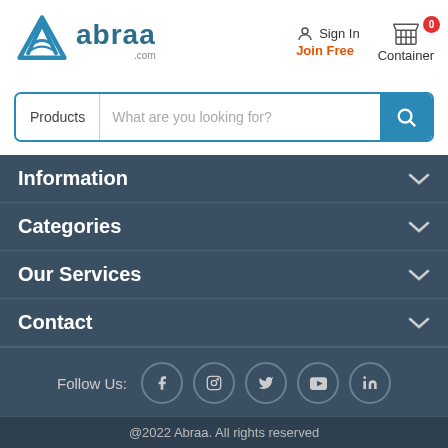[Figure (logo): Abraa.com logo with blue triangle icon and text]
Sign In
Join Free
Container (0)
Products | What are you looking for?
Information
Categories
Our Services
Contact
Follow Us:
@2022 Abraa. All rights reserved
[Figure (logo): Payment icons: VISA, Mastercard, Discover, Skrill, PayPal]